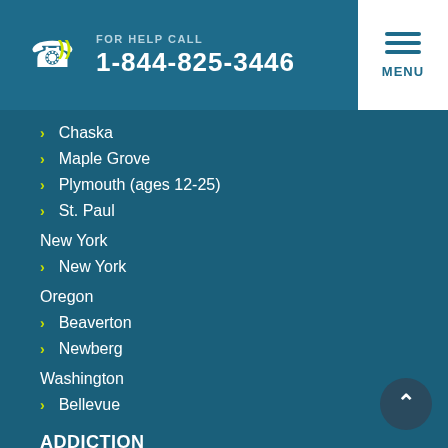FOR HELP CALL 1-844-825-3446
Chaska
Maple Grove
Plymouth (ages 12-25)
St. Paul
New York
New York
Oregon
Beaverton
Newberg
Washington
Bellevue
ADDICTION
What is Addiction?
Help For Families
Addiction Intervention
Types of Addiction
TREATMENT
Treatment Methods